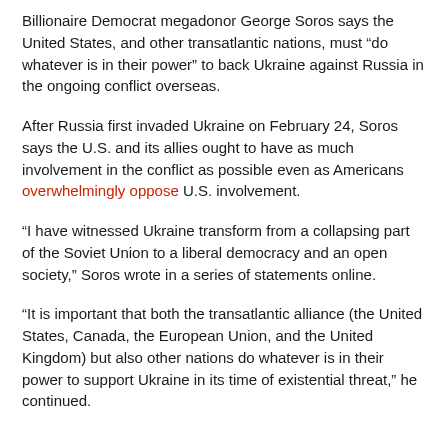Billionaire Democrat megadonor George Soros says the United States, and other transatlantic nations, must “do whatever is in their power” to back Ukraine against Russia in the ongoing conflict overseas.
After Russia first invaded Ukraine on February 24, Soros says the U.S. and its allies ought to have as much involvement in the conflict as possible even as Americans overwhelmingly oppose U.S. involvement.
“I have witnessed Ukraine transform from a collapsing part of the Soviet Union to a liberal democracy and an open society,” Soros wrote in a series of statements online.
“It is important that both the transatlantic alliance (the United States, Canada, the European Union, and the United Kingdom) but also other nations do whatever is in their power to support Ukraine in its time of existential threat,” he continued.